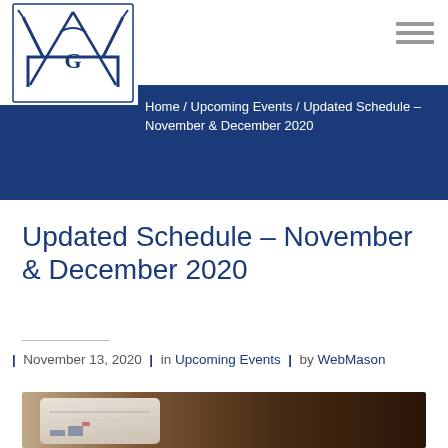[Figure (logo): Masonic Square and Compasses logo with G in center, dark blue]
Home / Upcoming Events / Updated Schedule – November & December 2020
Updated Schedule – November & December 2020
| November 13, 2020 | in Upcoming Events | by WebMason
[Figure (photo): Photo of a tablet device with calendar/schedule on a dark wooden surface]